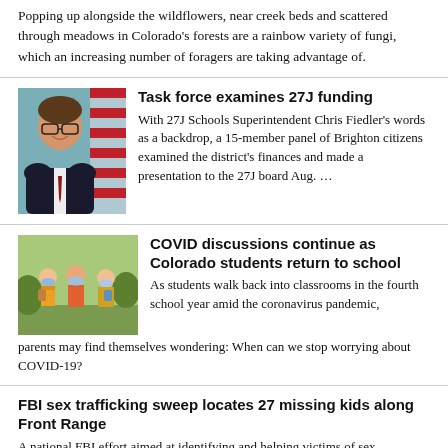Popping up alongside the wildflowers, near creek beds and scattered through meadows in Colorado's forests are a rainbow variety of fungi, which an increasing number of foragers are taking advantage of.
[Figure (photo): Portrait photo of a man wearing glasses and a suit with tie, smiling, in front of an American flag]
Task force examines 27J funding
With 27J Schools Superintendent Chris Fiedler's words as a backdrop, a 15-member panel of Brighton citizens examined the district's finances and made a presentation to the 27J board Aug. …
[Figure (photo): Photo of children wearing masks walking into school]
COVID discussions continue as Colorado students return to school
As students walk back into classrooms in the fourth school year amid the coronavirus pandemic, parents may find themselves wondering: When can we stop worrying about COVID-19?
FBI sex trafficking sweep locates 27 missing kids along Front Range
A national FBI effort aimed at identifying and helping victims of sex trafficking recovered 11 child victims in Colorado during the first week of August, according to the FBI's Denver office.